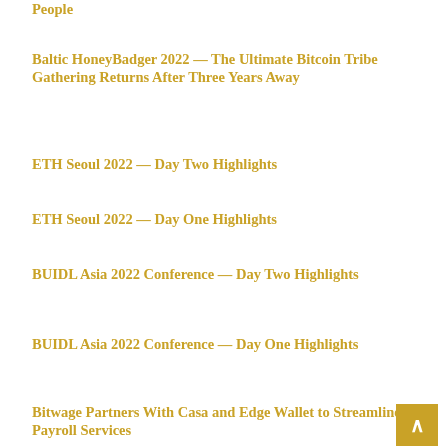People
Baltic HoneyBadger 2022 — The Ultimate Bitcoin Tribe Gathering Returns After Three Years Away
ETH Seoul 2022 — Day Two Highlights
ETH Seoul 2022 — Day One Highlights
BUIDL Asia 2022 Conference — Day Two Highlights
BUIDL Asia 2022 Conference — Day One Highlights
Bitwage Partners With Casa and Edge Wallet to Streamline Payroll Services